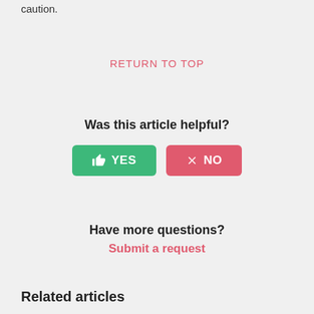caution.
RETURN TO TOP
Was this article helpful?
[Figure (other): YES and NO feedback buttons. YES is a green rounded button with a thumbs up icon and text YES. NO is a red/pink rounded button with an X icon and text NO.]
Have more questions?
Submit a request
Related articles